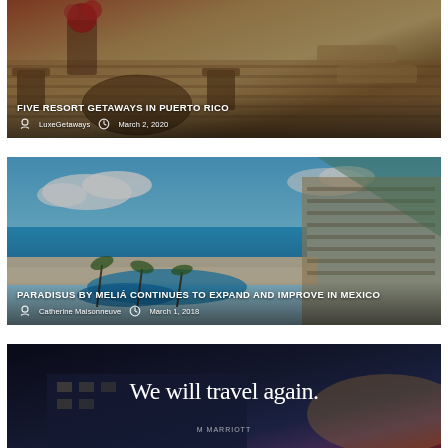[Figure (photo): Outdoor resort terrace with wooden chairs and table, tropical flower arrangement on left, lounge chairs visible in background — Puerto Rico resort]
FIVE RESORT GETAWAYS IN PUERTO RICO
LuxeGetaways  March 2, 2020
[Figure (photo): Aerial view of beachfront resort in Mexico — turquoise sea, white sand beach, large pool complex with swim-up bars, palm trees, and large modern hotel building on right (Paradisus by Meliá)]
PARADISUS BY MELIÁ CONTINUES TO EXPAND AND IMPROVE IN MEXICO
Catherine Maisonneuve  March 1, 2018
[Figure (photo): Dark atmospheric image with text overlay reading 'We will travel again.' and Marriott logo visible below]